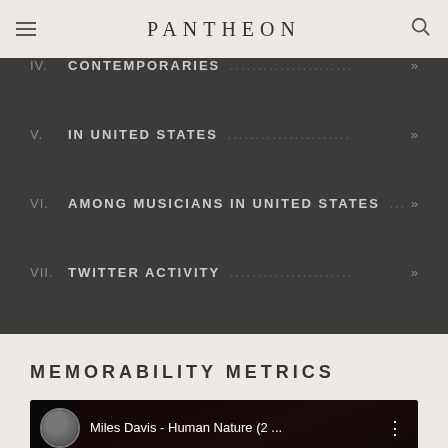PANTHEON
IV. CONTEMPORARIES »
V. IN UNITED STATES »
VI. AMONG MUSICIANS IN UNITED STATES »
VII. TWITTER ACTIVITY »
MEMORABILITY METRICS
[Figure (screenshot): YouTube video thumbnail for 'Miles Davis - Human Nature (2 ...' with dark concert background showing performers]